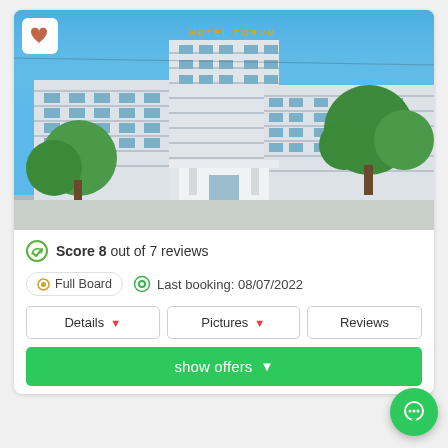[Figure (photo): Exterior photo of a large white multi-story hotel building with blue window frames, surrounded by green trees under a clear blue sky. A canopy entrance is visible at the front.]
Score 8 out of 7 reviews
Full Board   Last booking: 08/07/2022
Details   Pictures   Reviews
show offers